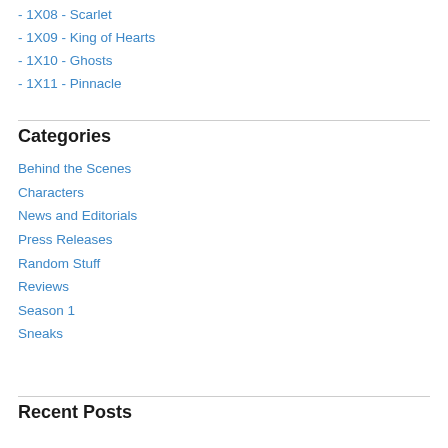- 1X08 - Scarlet
- 1X09 - King of Hearts
- 1X10 - Ghosts
- 1X11 - Pinnacle
Categories
Behind the Scenes
Characters
News and Editorials
Press Releases
Random Stuff
Reviews
Season 1
Sneaks
Recent Posts